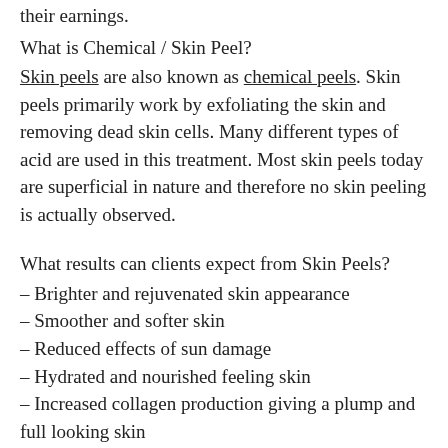their earnings.
What is Chemical / Skin Peel?
Skin peels are also known as chemical peels. Skin peels primarily work by exfoliating the skin and removing dead skin cells. Many different types of acid are used in this treatment. Most skin peels today are superficial in nature and therefore no skin peeling is actually observed.
What results can clients expect from Skin Peels?
– Brighter and rejuvenated skin appearance
– Smoother and softer skin
– Reduced effects of sun damage
– Hydrated and nourished feeling skin
– Increased collagen production giving a plump and full looking skin